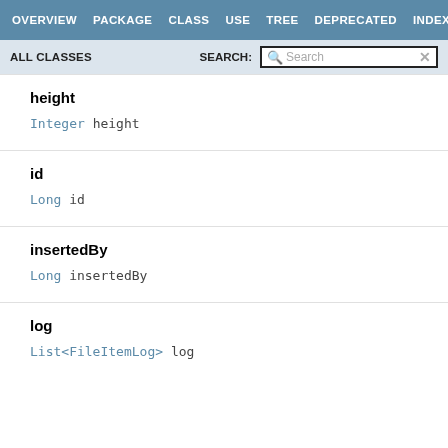OVERVIEW  PACKAGE  CLASS  USE  TREE  DEPRECATED  INDEX
ALL CLASSES   SEARCH:  Search
height
Integer height
id
Long id
insertedBy
Long insertedBy
log
List<FileItemLog> log